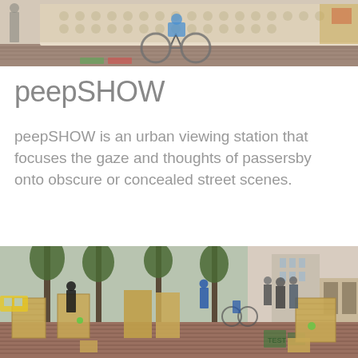[Figure (photo): Street scene showing a bicycle passing by a large sculptural installation made of light-colored textured material, on a brick sidewalk with colorful street markings visible.]
peepSHOW
peepSHOW is an urban viewing station that focuses the gaze and thoughts of passersby onto obscure or concealed street scenes.
[Figure (photo): Outdoor urban street installation showing wooden board structures arranged on a wide brick sidewalk with trees, pedestrians, and city buildings in the background.]